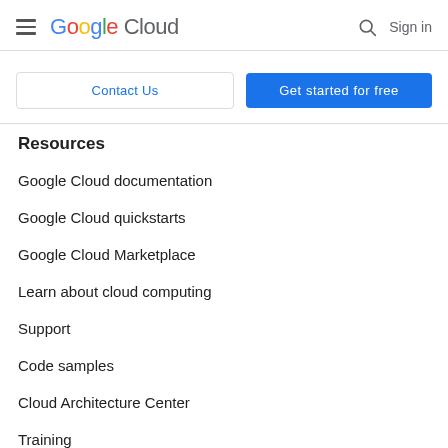Google Cloud — hamburger menu, search icon, Sign in
[Figure (screenshot): Google Cloud navigation header with hamburger menu icon, Google Cloud logo, search icon, and Sign in text]
Contact Us
Get started for free
Resources
Google Cloud documentation
Google Cloud quickstarts
Google Cloud Marketplace
Learn about cloud computing
Support
Code samples
Cloud Architecture Center
Training
Certifications